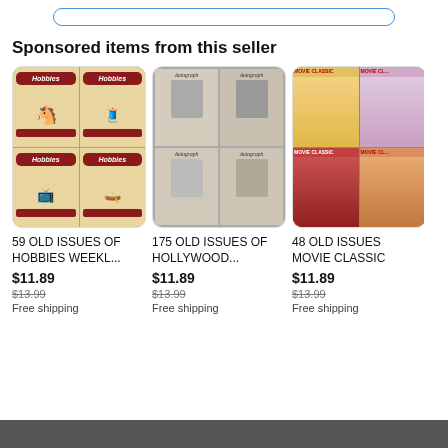[Figure (screenshot): Top search bar UI element with blue rounded border]
Sponsored items from this seller
[Figure (photo): 4-panel grid of Hobbies Weekly magazine covers with red banner logos]
59 OLD ISSUES OF HOBBIES WEEKL...
$11.89
$13.99
Free shipping
[Figure (photo): 4-panel grid of Hollywood Autograph magazine covers with portrait photos]
175 OLD ISSUES OF HOLLYWOOD...
$11.89
$13.99
Free shipping
[Figure (photo): 4-panel grid of Movie Classic magazine covers with glamour portraits]
48 OLD ISSUES MOVIE CLASSIC
$11.89
$13.99
Free shipping